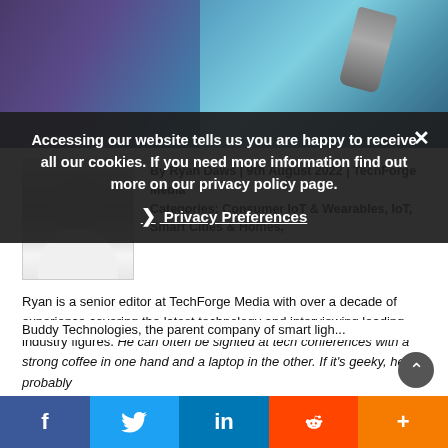[Figure (photo): Hero banner image with tech/IoT theme, teal and purple gradient background]
By Ryan Daws | 9th August 2022 | TechForge Media Categories: Consumer IoT & Wearables, IoT, Smart Cities & Homes,
[Figure (photo): Black and white headshot photo of author Ryan Daws]
Ryan is a senior editor at TechForge Media with over a decade of experience covering the latest technology and interviewing leading industry figures. He can often be sighted at tech conferences with a strong coffee in one hand and a laptop in the other. If it's geeky, he probably... Feit Electric... the lights on at LIFX.
Accessing our website tells us you are happy to receive all our cookies. If you need more information find out more on our privacy policy page.
Privacy Preferences
Buddy Technologies, the parent company of smart ligh...
f  Twitter  in  Reddit  +